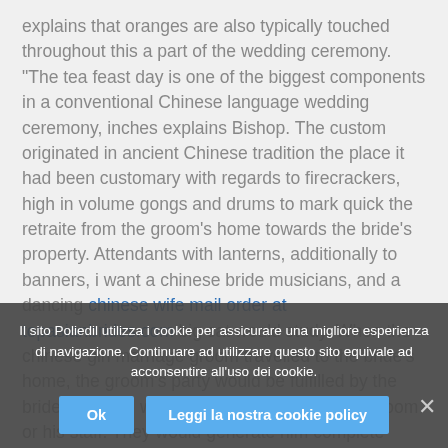explains that oranges are also typically touched throughout this a part of the wedding ceremony. “The tea feast day is one of the biggest components in a conventional Chinese language wedding ceremony, inches explains Bishop. The custom originated in ancient Chinese tradition the place it had been customary with regards to firecrackers, high in volume gongs and drums to mark quick the retraite from the groom’s home towards the bride’s property. Attendants with lanterns, additionally to banners, i want a chinese bride musicians, and a dancing chinese wife mail order at topasianbrides.com big cat would study. When the chinese girl marriage groom travelled to the bride’s home, the groom’s party would be fulfilled by the bride’s friends, who haggle together with the groom or his staff. They would generate him complete stunts or perhaps methods, and never “give up” their close friend till we were holding glad with pink bouts of money. Seeing that
Il sito Poliedil utilizza i cookie per assicurare una migliore esperienza di navigazione. Continuare ad utilizzare questo sito equivale ad acconsentire all’uso dei cookie.
Ok
Leggi la nostra cookie policy